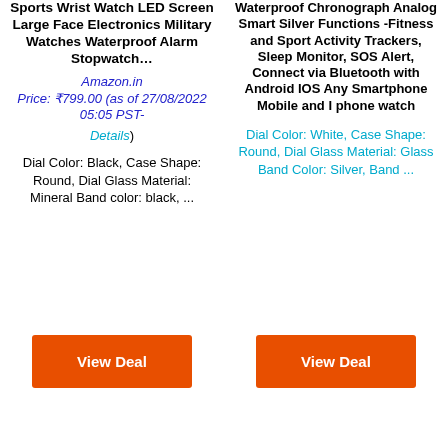Sports Wrist Watch LED Screen Large Face Electronics Military Watches Waterproof Alarm Stopwatch…
Amazon.in
Price: ₹799.00 (as of 27/08/2022 05:05 PST- Details)
Dial Color: Black, Case Shape: Round, Dial Glass Material: Mineral Band color: black, ...
View Deal
Waterproof Chronograph Analog Smart Silver Functions -Fitness and Sport Activity Trackers, Sleep Monitor, SOS Alert, Connect via Bluetooth with Android IOS Any Smartphone Mobile and I phone watch
Dial Color: White, Case Shape: Round, Dial Glass Material: Glass Band Color: Silver, Band ...
View Deal